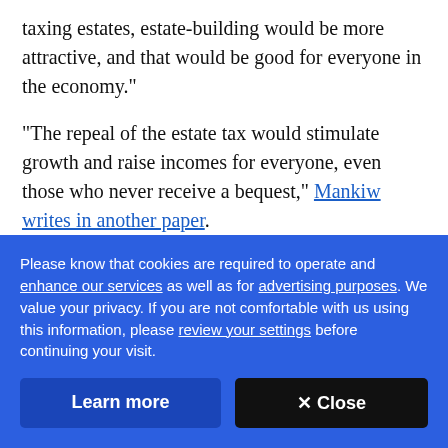taxing estates, estate-building would be more attractive, and that would be good for everyone in the economy."
"The repeal of the estate tax would stimulate growth and raise incomes for everyone, even those who never receive a bequest," Mankiw writes in another paper.
Please know that cookies are required to operate and enhance our services as well as for advertising purposes. We value your privacy. If you are not comfortable with us using this information, please review your settings before continuing your visit.